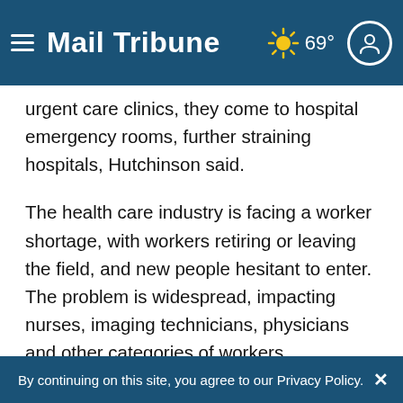Mail Tribune | ☀ 69°
urgent care clinics, they come to hospital emergency rooms, further straining hospitals, Hutchinson said.
The health care industry is facing a worker shortage, with workers retiring or leaving the field, and new people hesitant to enter. The problem is widespread, impacting nurses, imaging technicians, physicians and other categories of workers, Hutchinson said.
If somebody gets sick with COVID-19, they should...
By continuing on this site, you agree to our Privacy Policy.